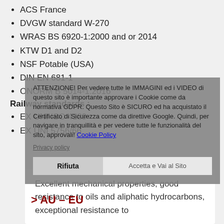ACS France
DVGW standard W-270
WRAS BS 6920-1:2000 and or 2014
KTW D1 and D2
NSF Potable (USA)
DIN EN 681-1
ONORM B 5014-1:2016
Railway standards :
EX UNI ISO 4189
EX UNI 5756/66
ATTENZIONE! Per vedere tutte le IMMAGINI ed i VIDEO di questo sito è importante approvare i Cookie come da normativa GDPR. Questo Sito è SICURO ed ha acquistato il Certificato di Sicurezza come da direttive Google. Quindi, per navigare in tranquillità e per vedere tutte le funzionalità del sito, approvali! Cookie Policy
Privacy policy
> AU – EU
Excellent mechanical properties, good resistance to oils and aliphatic hydrocarbons, exceptional resistance to